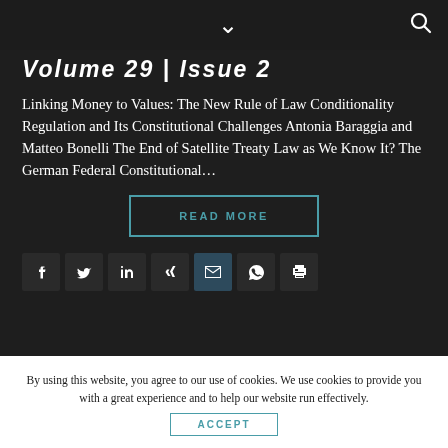Volume 29 | Issue 2
Linking Money to Values: The New Rule of Law Conditionality Regulation and Its Constitutional Challenges Antonia Baraggia and Matteo Bonelli The End of Satellite Treaty Law as We Know It? The German Federal Constitutional…
READ MORE
[Figure (other): Social share icons: Facebook, Twitter, LinkedIn, Xing, Email, WhatsApp, Print]
By using this website, you agree to our use of cookies. We use cookies to provide you with a great experience and to help our website run effectively.
ACCEPT